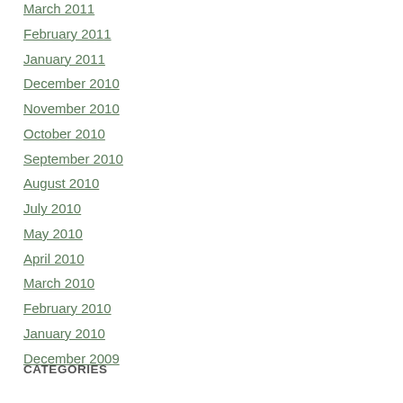March 2011
February 2011
January 2011
December 2010
November 2010
October 2010
September 2010
August 2010
July 2010
May 2010
April 2010
March 2010
February 2010
January 2010
December 2009
CATEGORIES